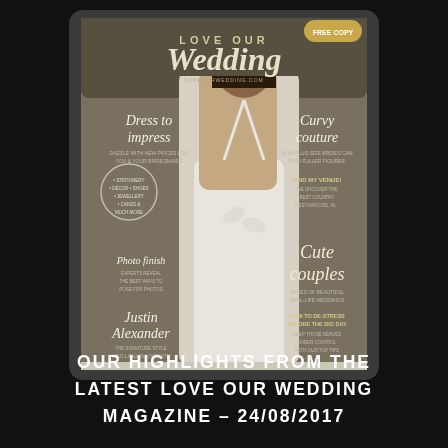[Figure (photo): Magazine cover of 'Love Our Wedding' magazine showing a woman in a white backless wedding dress with leaf appliqués, viewed from behind. Cover text includes 'Dress to impress', 'Curvy couture', 'Cute couples', 'Justin Alexander', 'Photo finish', 'Find My Venue', and 'How to De-Stress Before the Big Day'. The magazine is photographed against a dark textured background.]
OUR HIGHLIGHTS FROM THE LATEST LOVE OUR WEDDING MAGAZINE – 24/08/2017